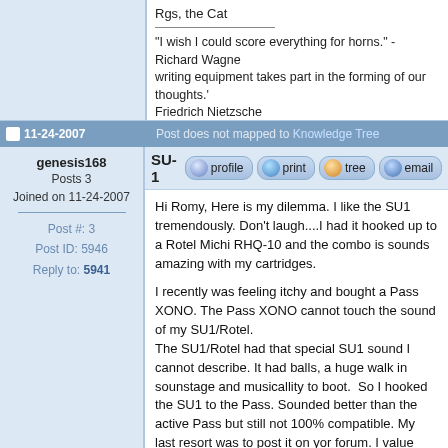Rgs, the Cat
"I wish I could score everything for horns." - Richard Wagner / "...writing equipment takes part in the forming of our thoughts." Friedrich Nietzsche
11-24-2007  Post does not mapped to Knowledge Tree
genesis168
Posts 3
Joined on 11-24-2007
Post #: 3
Post ID: 5946
Reply to: 5941
SU-1
Hi Romy, Here is my dilemma. I like the SU1 tremendously. Don't laugh....I had it hooked up to a Rotel Michi RHQ-10 and the combo is sounds amazing with my cartridges.

I recently was feeling itchy and bought a Pass XONO. The Pass XONO cannot touch the sound of my SU1/Rotel.
The SU1/Rotel had that special SU1 sound I cannot describe. It had balls, a huge walk in sounstage and musicallity to boot.  So I hooked the SU1 to the Pass. Sounded better than the active Pass but still not 100% compatible. My last resort was to post it on yor forum. I value your opinion and know you have lots of experience with the SU1/2. Now, I have to sell the Pass.

I will have to look for an EAR834 to see how it goes.